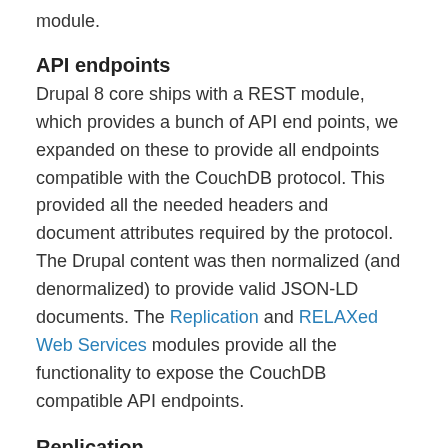module.
API endpoints
Drupal 8 core ships with a REST module, which provides a bunch of API end points, we expanded on these to provide all endpoints compatible with the CouchDB protocol. This provided all the needed headers and document attributes required by the protocol. The Drupal content was then normalized (and denormalized) to provide valid JSON-LD documents. The Replication and RELAXed Web Services modules provide all the functionality to expose the CouchDB compatible API endpoints.
Replication
Initially the native CouchDB replicator was used to replicate from Drupal to CouchDB, CouchDB to Drupal, and Drupal to Drupal. Tests were then setup to work with